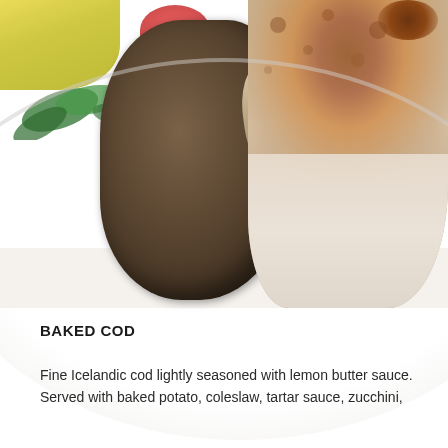[Figure (photo): Overhead view of a white plate with a baked cod fillet seasoned with lemon butter and spices, a baked potato, a small side salad with tomato and greens, and a cup of lemon butter sauce.]
BAKED COD
Fine Icelandic cod lightly seasoned with lemon butter sauce. Served with baked potato, coleslaw, tartar sauce, zucchini,